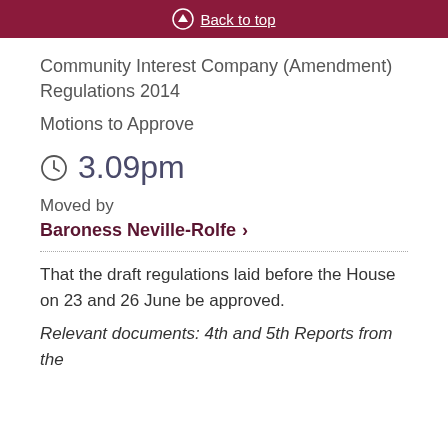Back to top
Community Interest Company (Amendment) Regulations 2014
Motions to Approve
3.09pm
Moved by
Baroness Neville-Rolfe
That the draft regulations laid before the House on 23 and 26 June be approved.
Relevant documents: 4th and 5th Reports from the